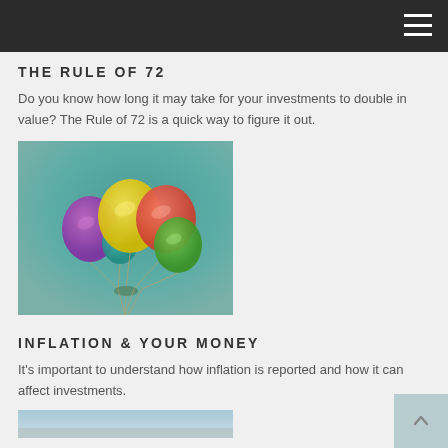THE RULE OF 72
THE RULE OF 72
Do you know how long it may take for your investments to double in value? The Rule of 72 is a quick way to figure it out.
[Figure (photo): Photo of colorful balloons (yellow, red, purple, green, teal) against a teal-to-grey gradient background, tied together with strings]
INFLATION & YOUR MONEY
It's important to understand how inflation is reported and how it can affect investments.
[Figure (photo): Partial view of a second photo at the bottom of the page]